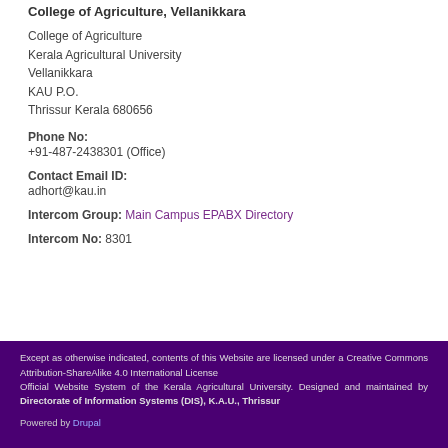College of Agriculture, Vellanikkara
College of Agriculture
Kerala Agricultural University
Vellanikkara
KAU P.O.
Thrissur Kerala 680656
Phone No:
+91-487-2438301 (Office)
Contact Email ID:
adhort@kau.in
Intercom Group: Main Campus EPABX Directory
Intercom No: 8301
Except as otherwise indicated, contents of this Website are licensed under a Creative Commons Attribution-ShareAlike 4.0 International License
Official Website System of the Kerala Agricultural University. Designed and maintained by Directorate of Information Systems (DIS), K.A.U., Thrissur
Powered by Drupal